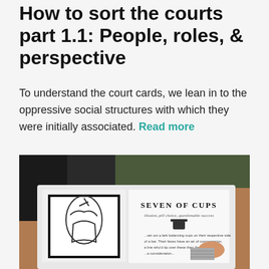How to sort the courts part 1.1: People, roles, & perspective
To understand the court cards, we lean in to the oppressive social structures with which they were initially associated. Read more
[Figure (photo): A person holding open a small book/booklet showing a tarot card illustration on the left page (appears to be a figure in robes) and the right page shows 'SEVEN OF CUPS' with subtitle text and a cup icon, with more text below. Background shows wooden surface and some greenery.]